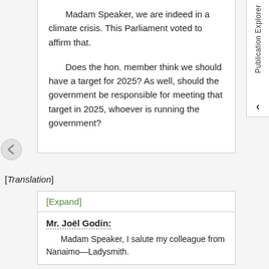Madam Speaker, we are indeed in a climate crisis. This Parliament voted to affirm that.

Does the hon. member think we should have a target for 2025? As well, should the government be responsible for meeting that target in 2025, whoever is running the government?
[Translation]
[Expand]
Mr. Joël Godin:
Madam Speaker, I salute my colleague from Nanaimo—Ladysmith.